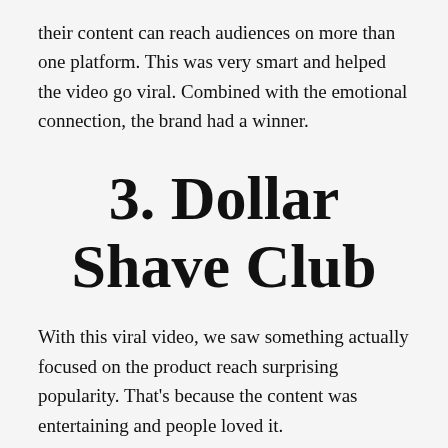their content can reach audiences on more than one platform. This was very smart and helped the video go viral. Combined with the emotional connection, the brand had a winner.
3. Dollar Shave Club
With this viral video, we saw something actually focused on the product reach surprising popularity. That’s because the content was entertaining and people loved it.